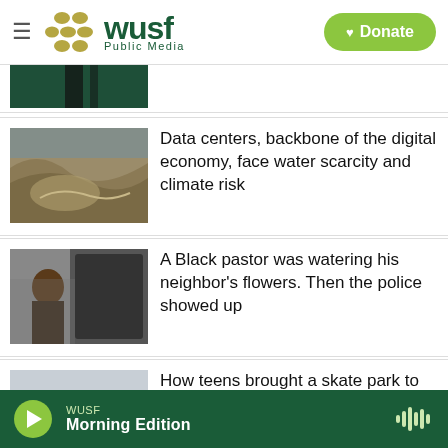[Figure (logo): WUSF Public Media logo with hamburger menu and Donate button]
[Figure (photo): Partial image cut off at top, dark green tones]
[Figure (photo): Aerial view of parched reservoir landscape]
Data centers, backbone of the digital economy, face water scarcity and climate risk
[Figure (photo): Black pastor standing near car door]
A Black pastor was watering his neighbor's flowers. Then the police showed up
[Figure (photo): Sky/landscape image partially visible]
How teens brought a skate park to
[Figure (screenshot): WUSF audio player bar at bottom showing Morning Edition]